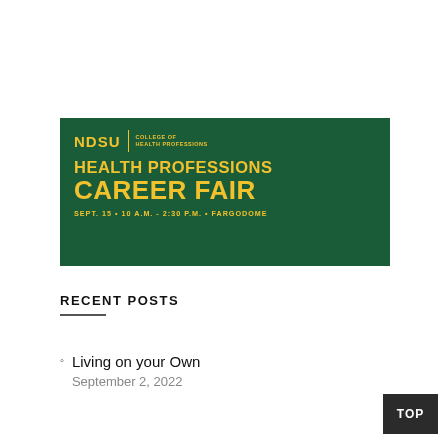[Figure (illustration): NDSU College of Health Professions - Health Professions Career Fair banner. Dark green background with yellow text. NDSU logo with College of Health Professions text, large title reading HEALTH PROFESSIONS CAREER FAIR, subtitle SEPT. 15 • 10 A.M. - 2:30 P.M. • FARGODOME]
RECENT POSTS
Living on your Own
September 2, 2022